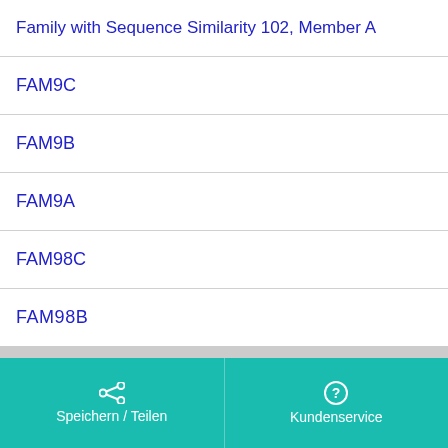Family with Sequence Similarity 102, Member A
FAM9C
FAM9B
FAM9A
FAM98C
FAM98B
+ Mehr anzeigen
Speichern / Teilen   Kundenservice